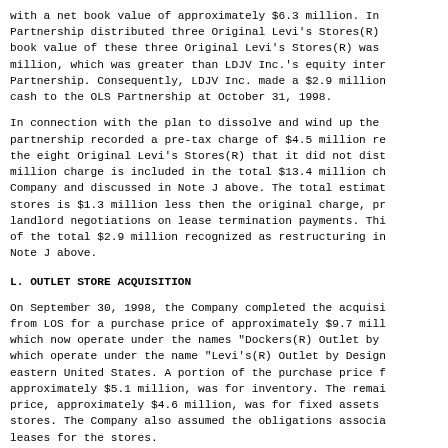with a net book value of approximately $6.3 million. In the Partnership distributed three Original Levi's Stores(R) b book value of these three Original Levi's Stores(R) was a million, which was greater than LDJV Inc.'s equity intere Partnership. Consequently, LDJV Inc. made a $2.9 million cash to the OLS Partnership at October 31, 1998.
In connection with the plan to dissolve and wind up the partnership recorded a pre-tax charge of $4.5 million re the eight Original Levi's Stores(R) that it did not distr million charge is included in the total $13.4 million cha Company and discussed in Note J above. The total estimate stores is $1.3 million less then the original charge, pr landlord negotiations on lease termination payments. Thi of the total $2.9 million recognized as restructuring in Note J above.
L. OUTLET STORE ACQUISITION
On September 30, 1998, the Company completed the acquisit from LOS for a purchase price of approximately $9.7 milli which now operate under the names "Dockers(R) Outlet by D which operate under the name "Levi's(R) Outlet by Designs eastern United States. A portion of the purchase price fo approximately $5.1 million, was for inventory. The remain price, approximately $4.6 million, was for fixed assets a stores. The Company also assumed the obligations associat leases for the stores.
M. PRO-FORMA RESULTS OF OPERATIONS